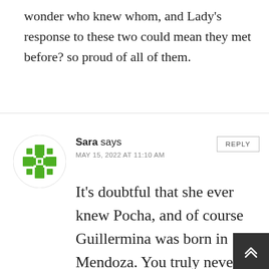wonder who knew whom, and Lady’s response to these two could mean they met before? so proud of all of them.
[Figure (illustration): Green pixel/geometric avatar icon for commenter Sara, circular shape with white background]
Sara says
MAY 15, 2022 AT 11:10 AM
REPLY
It’s doubtful that she ever knew Pocha, and of course Guillermina was born in Mendoza. You truly never know, but the chances aren’t